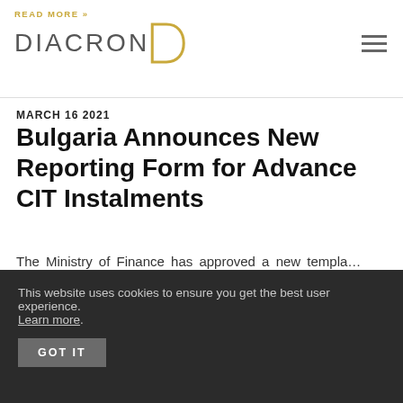READ MORE » DIACRON
MARCH 16 2021
Bulgaria Announces New Reporting Form for Advance CIT Instalments
The Ministry of Finance has approved a new templa…
READ MORE »
This website uses cookies to ensure you get the best user experience. Learn more. GOT IT